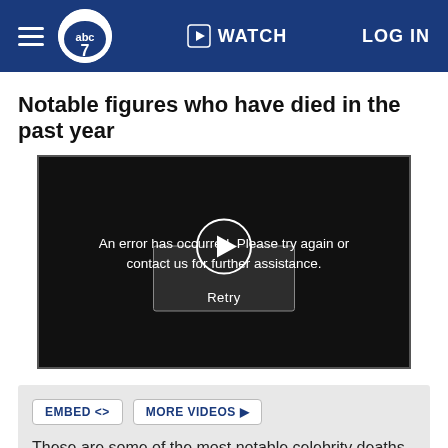[Figure (screenshot): ABC7 news website navigation bar with hamburger menu, ABC7 logo, WATCH button, and LOG IN link on dark blue background]
Notable figures who have died in the past year
[Figure (screenshot): Embedded video player showing error message: An error has occurred. Please try again or contact us for further assistance. A circular play button with Retry label is shown.]
EMBED <> MORE VIDEOS ▶
These are some of the most notable celebrity deaths of 2021.